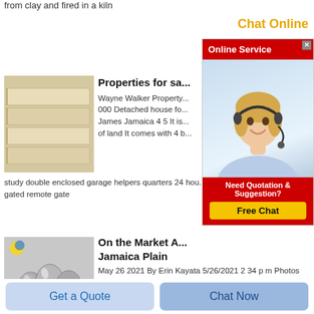from clay and fired in a kiln
Chat Online
[Figure (screenshot): Online Service ad overlay with a woman wearing a headset, red header bar, and Free Chat button]
[Figure (photo): Stack of light-colored bricks/fire bricks]
Properties for sa...
Wayne Walker Property... 000 Detached house fo... James Jamaica 4 5 It is... of land It comes with 4 b... study double enclosed garage helpers quarters 24 hou... gated remote gate
[Figure (photo): Silver/chrome egg-shaped objects grouped together with a logo in top left]
On the Market A... Jamaica Plain
May 26 2021  By Erin Kayata 5/26/2021 2 34 p m Photos by Shoanna Crowell 110 Chestnut Avenue Jamaica Plain Price 888 000 Size 1 424 square feet Bedrooms 4 Bathrooms 3 When Andrea Bredbeck
Get a Quote
Chat Now